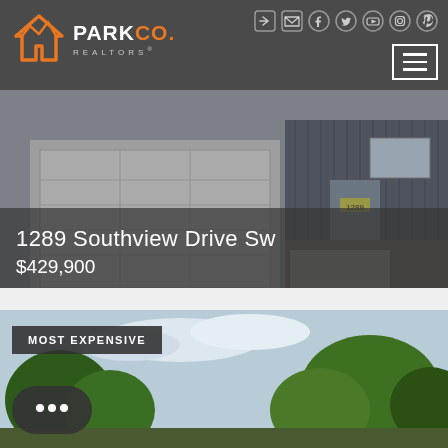[Figure (logo): Park Co. Realtors logo with orange house/mountain icon and white text]
[Figure (photo): Exterior photo of a house at 1289 Southview Drive Sw showing garage door and front entrance]
1289 Southview Drive Sw
$429,900
[Figure (photo): Exterior photo of a residential property with trees and sky — labeled MOST EXPENSIVE]
MOST EXPENSIVE